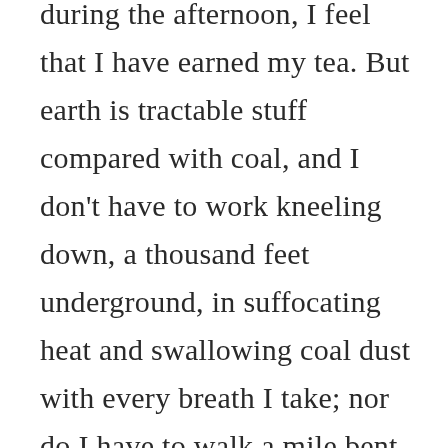during the afternoon, I feel that I have earned my tea. But earth is tractable stuff compared with coal, and I don't have to work kneeling down, a thousand feet underground, in suffocating heat and swallowing coal dust with every breath I take; nor do I have to walk a mile bent double before I begin. The miner's job would be as much beyond my power as it would be to perform on the flying trapeze or to win the Grand National.